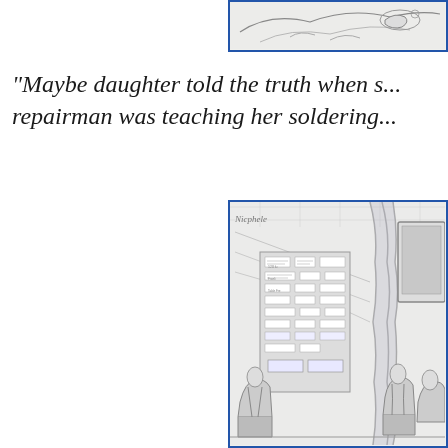[Figure (illustration): Partial cartoon illustration visible at top-right, showing a sketched scene, cropped, with a blue border.]
"Maybe daughter told the truth when s... repairman was teaching her soldering...
[Figure (illustration): A detailed pencil cartoon drawing of an interior scene with a large display board or bookshelf covered in labels/signs, curtains, chairs, and figures sitting in chairs. Blue border around image.]